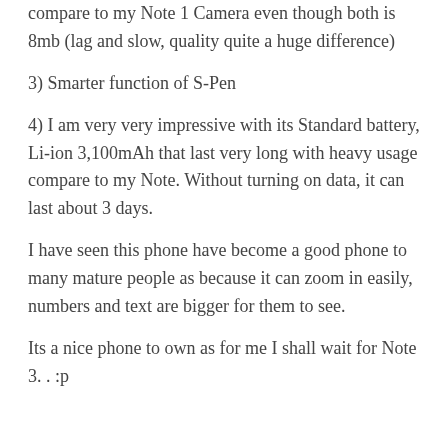compare to my Note 1 Camera even though both is 8mb (lag and slow, quality quite a huge difference)
3) Smarter function of S-Pen
4) I am very very impressive with its Standard battery, Li-ion 3,100mAh that last very long with heavy usage compare to my Note. Without turning on data, it can last about 3 days.
I have seen this phone have become a good phone to many mature people as because it can zoom in easily, numbers and text are bigger for them to see.
Its a nice phone to own as for me I shall wait for Note 3. . :p